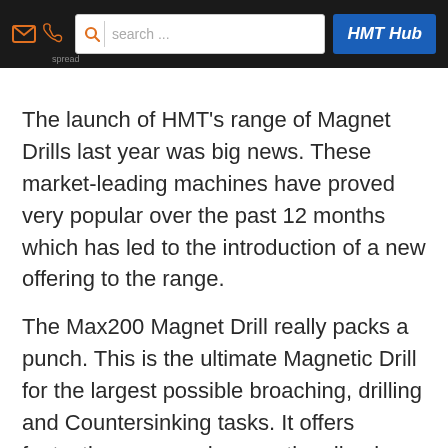HMT Hub — navigation bar with search
The launch of HMT's range of Magnet Drills last year was big news. These market-leading machines have proved very popular over the past 12 months which has led to the introduction of a new offering to the range.
The Max200 Magnet Drill really packs a punch. This is the ultimate Magnetic Drill for the largest possible broaching, drilling and Countersinking tasks. It offers fantastic power and magnetic adhesion making this Mag Drill a world beater for heavy duty